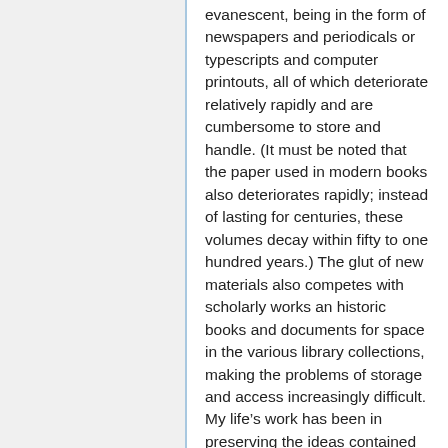evanescent, being in the form of newspapers and periodicals or typescripts and computer printouts, all of which deteriorate relatively rapidly and are cumbersome to store and handle. (It must be noted that the paper used in modern books also deteriorates rapidly; instead of lasting for centuries, these volumes decay within fifty to one hundred years.) The glut of new materials also competes with scholarly works an historic books and documents for space in the various library collections, making the problems of storage and access increasingly difficult. My life's work has been in preserving the ideas contained in this ever-growing mass of material and making them available, at a reasonable cost, in a form that is permanent, manageable, and